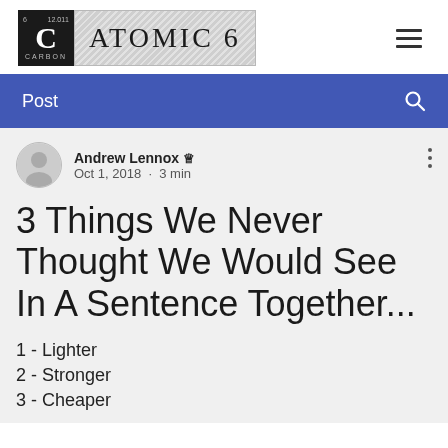ATOMIC 6
Post
Andrew Lennox 👑
Oct 1, 2018 · 3 min
3 Things We Never Thought We Would See In A Sentence Together...
1 - Lighter
2 - Stronger
3 - Cheaper